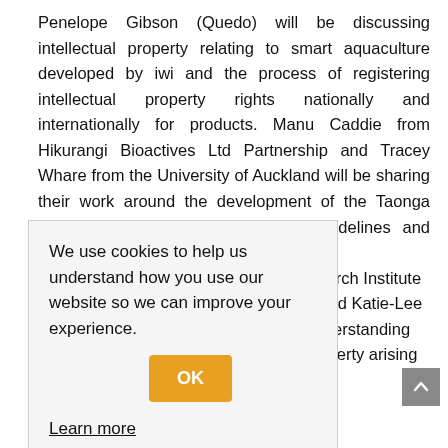Penelope Gibson (Quedo) will be discussing intellectual property relating to smart aquaculture developed by iwi and the process of registering intellectual property rights nationally and internationally for products. Manu Caddie from Hikurangi Bioactives Ltd Partnership and Tracey Whare from the University of Auckland will be sharing their work around the development of the Taonga Species and Intellectual Property Guidelines and their work [with Te Kotahi Research Institute ...] [Maihea / Whakamāna Stirling and Katie-Lee ...] [t report on Understanding ...] [I/ntellectual Property arising ...]
We use cookies to help us understand how you use our website so we can improve your experience. Learn more